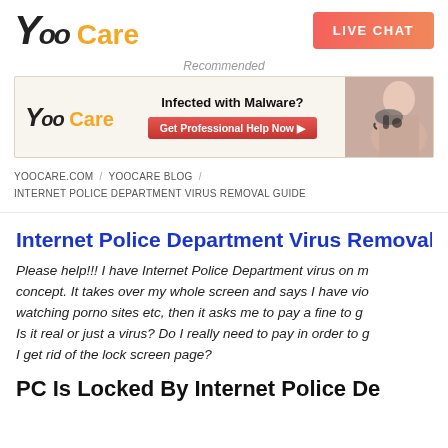[Figure (logo): YooCare logo with stylized Y, 'oo' and 'Care' in orange]
[Figure (other): LIVE CHAT button with pink-orange gradient]
Recommended
[Figure (other): YooCare advertisement banner: Infected with Malware? Get Professional Help Now, with photo of woman with headset]
YOOCARE.COM / YOOCARE BLOG / INTERNET POLICE DEPARTMENT VIRUS REMOVAL GUIDE
Internet Police Department Virus Removal Guide
Please help!!! I have Internet Police Department virus on my concept. It takes over my whole screen and says I have violated watching porno sites etc, then it asks me to pay a fine to get Is it real or just a virus? Do I really need to pay in order to get I get rid of the lock screen page?
PC Is Locked By Internet Police Department